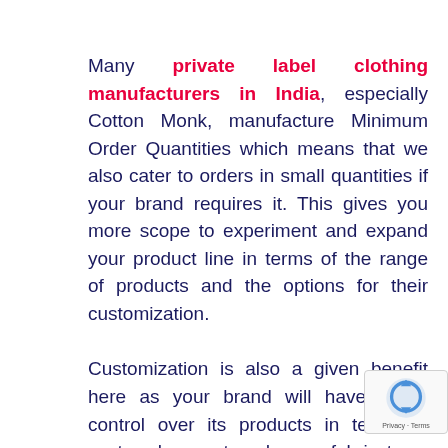Many private label clothing manufacturers in India, especially Cotton Monk, manufacture Minimum Order Quantities which means that we also cater to orders in small quantities if your brand requires it. This gives you more scope to experiment and expand your product line in terms of the range of products and the options for their customization.

Customization is also a given benefit here as your brand will have better control over its products in terms of cost, colour, cut and even fabric type. This isn't a viable option in a wholesale market where you'll have to get products in bulk and then work customization and marketing on your own.
[Figure (logo): reCAPTCHA badge with rotating arrows icon and Privacy - Terms text]